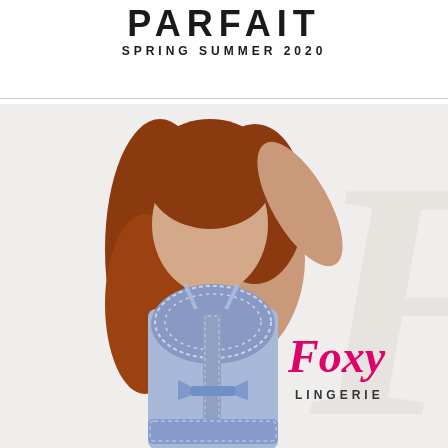PARFAIT
SPRING SUMMER 2020
[Figure (photo): Fashion/lingerie catalog page featuring a female model with long red hair wearing a blue lace lingerie chemise/babydoll, posed with one hand behind her head. Background shows a faded watermark-style 'F' letter. Brand name 'Foxy LINGERIE' in pink/magenta script and uppercase lettering appears in the lower right area of the image.]